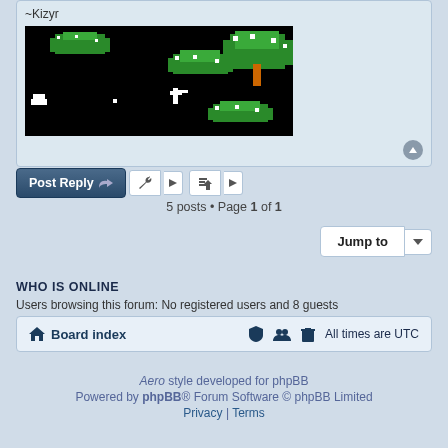[Figure (screenshot): A retro-style 8-bit game screenshot on black background showing pixel art trees (green with white outlines), a character, and other game sprites. Username '~Kizyr' shown above image.]
5 posts • Page 1 of 1
Jump to
WHO IS ONLINE
Users browsing this forum: No registered users and 8 guests
Board index   All times are UTC
Aero style developed for phpBB
Powered by phpBB® Forum Software © phpBB Limited
Privacy | Terms